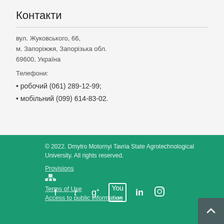Контакти
вул. Жуковського, 66,
м. Запоріжжя, Запорізька обл.
69600, Україна
Телефони:
• робочий (061) 289-12-99;
• мобільний (099) 614-83-02.
© 2022. Dmytro Motornyi Tavria State Agrotechnological University. All rights reserved.
Provisions
Terms of Use
Access to public information